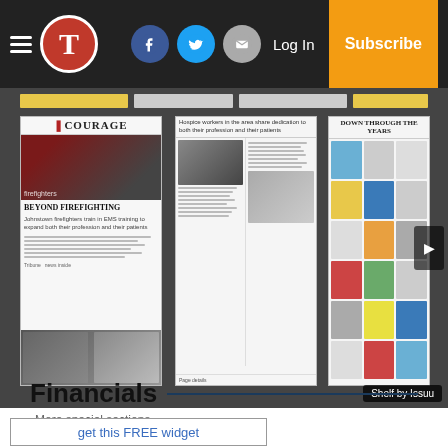T [logo] | Facebook | Twitter | Email | Log In | Subscribe
[Figure (screenshot): Newspaper shelf viewer showing three newspaper front page thumbnails: 'Courage / Beyond Firefighting', a multi-column news page, and 'Down Through The Years' collage page. Arrow navigation and 'Shelf by Issuu' label visible.]
More special sections
Financials
get this FREE widget